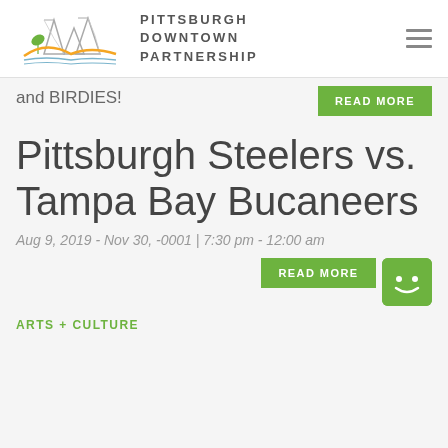PITTSBURGH DOWNTOWN PARTNERSHIP
and BIRDIES!
READ MORE
Pittsburgh Steelers vs. Tampa Bay Bucaneers
Aug 9, 2019 - Nov 30, -0001 | 7:30 pm - 12:00 am
READ MORE
ARTS + CULTURE